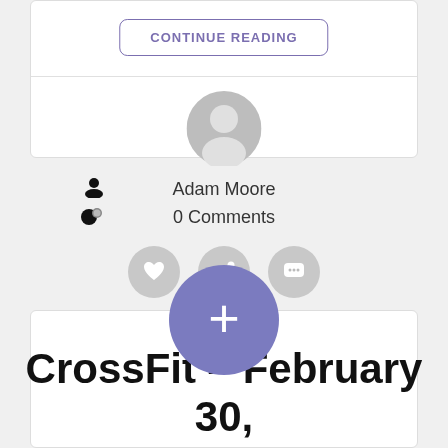[Figure (screenshot): Continue Reading button with rounded border in purple/violet color]
[Figure (illustration): Gray circular avatar/profile picture placeholder icon]
Adam Moore
0 Comments
[Figure (illustration): Three gray circular action buttons: heart/like, share, and comment icons]
[Figure (illustration): Large blue-purple circular plus (+) button for adding new content]
CrossFit – February 30, 2020